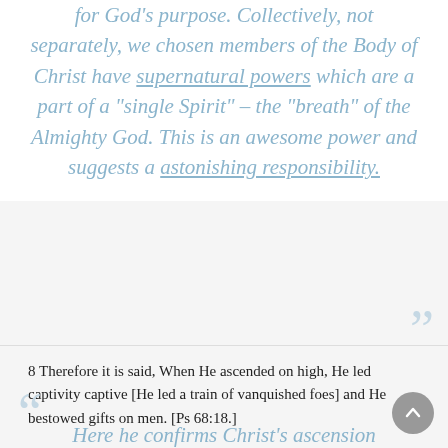for God’s purpose.  Collectively, not separately, we chosen members of the Body of Christ have supernatural powers which are a part of a “single Spirit” – the “breath” of the Almighty God.  This is an awesome power and suggests a astonishing responsibility.
8 Therefore it is said, When He ascended on high, He led captivity captive [He led a train of vanquished foes] and He bestowed gifts on men. [Ps 68:18.]
Here he confirms Christ’s ascension